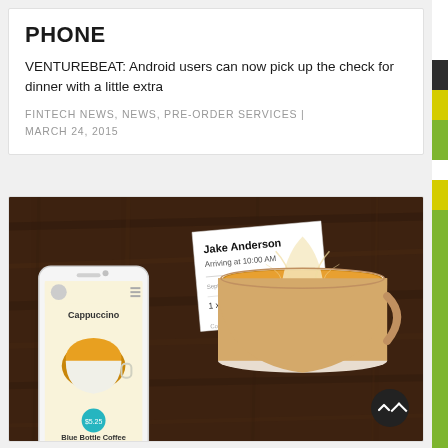PHONE
VENTUREBEAT: Android users can now pick up the check for dinner with a little extra
FINTECH NEWS, NEWS, PRE-ORDER SERVICES | MARCH 24, 2015
[Figure (photo): Top-down photo on a dark wooden table showing a smartphone with a coffee app (displaying 'Cappuccino' and 'Blue Bottle Coffee'), a paper receipt card for Jake Anderson arriving at 10:00 AM with a cappuccino order, and a latte art coffee cup.]